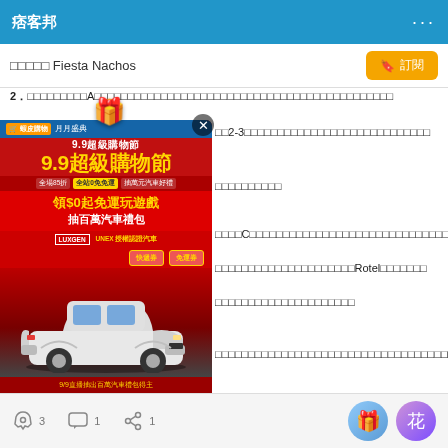痞客邦
□□□□□ Fiesta Nachos
2．□□□□□□□□□A□□□□□□□□□□□□□□□□□□□□□□□□□□□□□□□□□□□□□□□□□□□□□
□□□□□□2-3□□□□□□□□□□□□□□□□□□□□□□□□□□
□□□□□□□□□□□□□□C□□□□□□□□□□□□□□□□□□□□□□□□□□□□□□□□□
□□□□□□□□□□□□□□□□□□□□□□□□□Rotel□□□□□□□
□□□□□□□□□□□□□□□□□□□□□□□□□□□□□□□□□□□□□□□□□□□□□□□□□□□□□□□
[Figure (screenshot): Advertisement banner for 9.9 超級購物節 (9.9 Super Shopping Festival) with LUXGEN car promotion, featuring a white SUV car, gold gift boxes, and a '立即領' (Claim Now) button.]
3  1  1